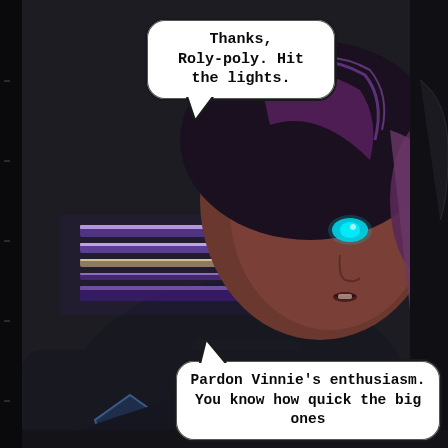[Figure (illustration): Comic/graphic novel panel. A 3D-rendered female character with short purple/black hair and glowing cyan eyes, wearing a dark tactical uniform with a blue dragonfly badge patch on the shoulder. The background shows a dark industrial or sci-fi interior with horizontal glowing purple/lavender neon light strips. There is a dark left border panel with subtle markings. Two speech bubbles are present.]
Thanks, Roly-poly. Hit the lights.
Pardon Vinnie's enthusiasm. You know how quick the big ones